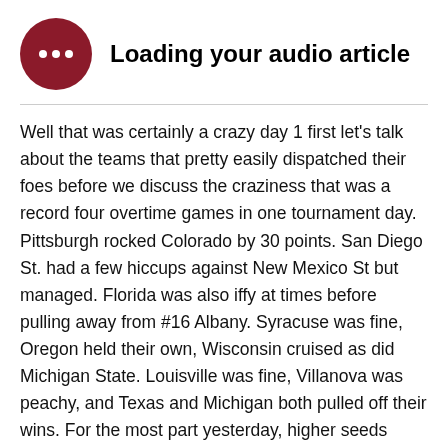[Figure (other): Dark red circular button with three white dots, representing an audio player loading indicator]
Loading your audio article
Well that was certainly a crazy day 1 first let’s talk about the teams that pretty easily dispatched their foes before we discuss the craziness that was a record four overtime games in one tournament day. Pittsburgh rocked Colorado by 30 points. San Diego St. had a few hiccups against New Mexico St but managed. Florida was also iffy at times before pulling away from #16 Albany. Syracuse was fine, Oregon held their own, Wisconsin cruised as did Michigan State. Louisville was fine, Villanova was peachy, and Texas and Michigan both pulled off their wins. For the most part yesterday, higher seeds looked just fine.